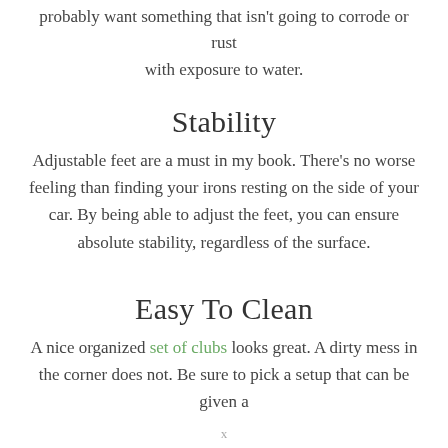probably want something that isn't going to corrode or rust with exposure to water.
Stability
Adjustable feet are a must in my book. There's no worse feeling than finding your irons resting on the side of your car. By being able to adjust the feet, you can ensure absolute stability, regardless of the surface.
Easy To Clean
A nice organized set of clubs looks great. A dirty mess in the corner does not. Be sure to pick a setup that can be given a
x